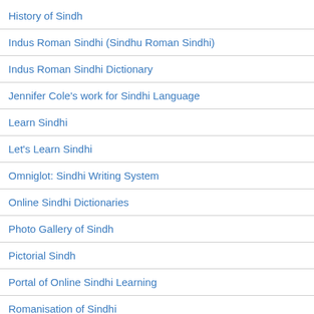History of Sindh
Indus Roman Sindhi (Sindhu Roman Sindhi)
Indus Roman Sindhi Dictionary
Jennifer Cole's work for Sindhi Language
Learn Sindhi
Let's Learn Sindhi
Omniglot: Sindhi Writing System
Online Sindhi Dictionaries
Photo Gallery of Sindh
Pictorial Sindh
Portal of Online Sindhi Learning
Romanisation of Sindhi
SANA